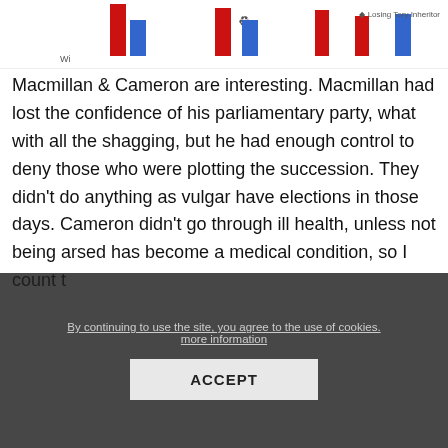[Figure (bar-chart): Bar chart showing red and blue grouped bars, partially cropped at top. Legend shows 'Losing Tory Inheritor'.]
Macmillan & Cameron are interesting. Macmillan had lost the confidence of his parliamentary party, what with all the shagging, but he had enough control to deny those who were plotting the succession. They didn't do anything as vulgar have elections in those days. Cameron didn't go through ill health, unless not being arsed has become a medical condition, so I count t
By continuing to use the site, you agree to the use of cookies. more information
ACCEPT
UK Parliament is getting younger so less ill health resignations. All the recent resignations have been "pushed".